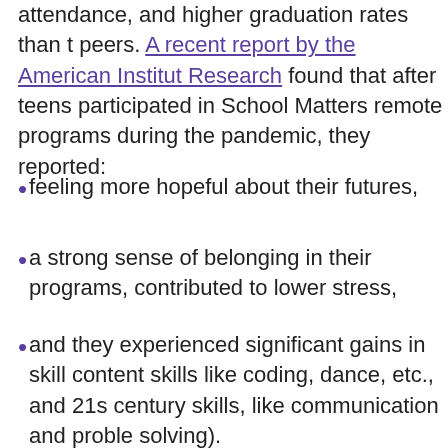attendance, and higher graduation rates than their peers. A recent report by the American Institute for Research found that after teens participated in School Matters remote programs during the pandemic, they reported:
feeling more hopeful about their futures,
a strong sense of belonging in their programs, contributed to lower stress,
and they experienced significant gains in skills: content skills like coding, dance, etc., and 21st century skills, like communication and problem solving).